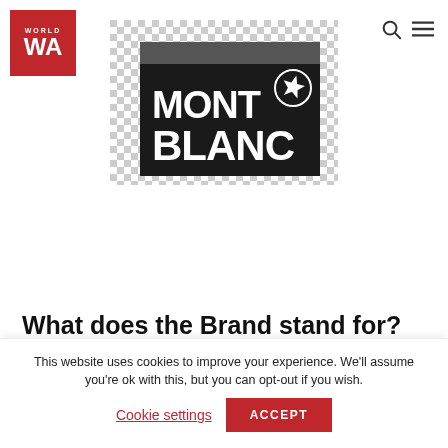[Figure (logo): WA logo — red square with white WA letters]
[Figure (logo): Montblanc brand logo on dark background with checkerboard transparency pattern, showing MONT BLANC text and star emblem]
What does the Brand stand for?
This website uses cookies to improve your experience. We'll assume you're ok with this, but you can opt-out if you wish.
Cookie settings    ACCEPT